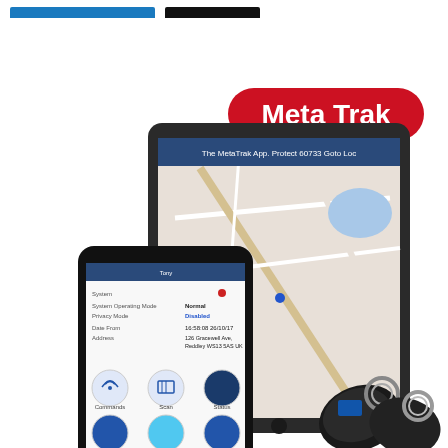[Figure (logo): Two colored bars at top: a cyan/blue rectangle and a black rectangle, representing logo/brand bars]
[Figure (photo): Product photo showing Meta Trak vehicle tracking system: a tablet displaying a map app with GPS tracking, a smartphone showing the Meta Trak app interface with status, commands, scan, status, map, messages, history, and options buttons, and two black key fob devices on keyrings. A red rounded rectangle badge with white bold text reads 'Meta Trak'.]